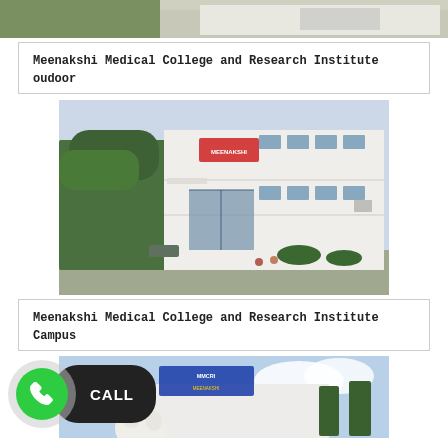[Figure (photo): Meenakshi Medical College and Research Institute outdoor building photo (top, partially cropped)]
Meenakshi Medical College and Research Institute oudoor
[Figure (photo): Meenakshi Medical College and Research Institute Campus building exterior photo with trees]
Meenakshi Medical College and Research Institute Campus
[Figure (photo): Another building photo, partially visible at bottom of page, with a CALL button overlay in the bottom-left corner]